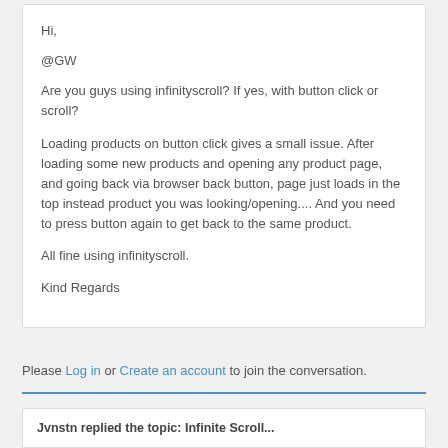Hi,
@GW
Are you guys using infinityscroll? If yes, with button click or scroll?
Loading products on button click gives a small issue. After loading some new products and opening any product page, and going back via browser back button, page just loads in the top instead product you was looking/opening.... And you need to press button again to get back to the same product.
All fine using infinityscroll.
Kind Regards
Please Log in or Create an account to join the conversation.
Jvnstn replied the topic: Infinite Scroll...